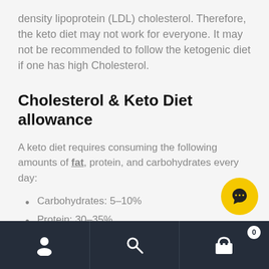density lipoprotein (LDL) cholesterol. Therefore, the keto diet may not work for everyone. It may not be recommended to follow the ketogenic diet if one has high Cholesterol.
Cholesterol & Keto Diet allowance
A keto diet requires consuming the following amounts of fat, protein, and carbohydrates every day:
Carbohydrates: 5–10%
Protein: 30–35%
Navigation bar with user, search, and cart icons